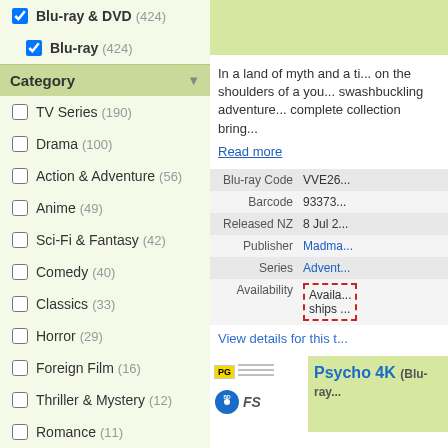✔ Blu-ray & DVD (424)
✔ Blu-ray (424)
Category
TV Series (190)
Drama (100)
Action & Adventure (56)
Anime (49)
Sci-Fi & Fantasy (42)
Comedy (40)
Classics (33)
Horror (29)
Foreign Film (16)
Thriller & Mystery (12)
Romance (11)
Film Rating
M (190)
PG (109)
In a land of myth and a time of magic, the destiny of a great kingdom rests on the shoulders of a young man. His name: Merlin. Now the entire swashbuckling adventure series comes to an end as this complete collection brings...
Read more
| Field | Value |
| --- | --- |
| Blu-ray Code | VVE26... |
| Barcode | 93373... |
| Released NZ | 8 Jul 2... |
| Publisher | Madma... |
| Series | Advent... |
| Availability | Available, ships ... |
View details for this t...
Psycho 4K (Blu-ray...)